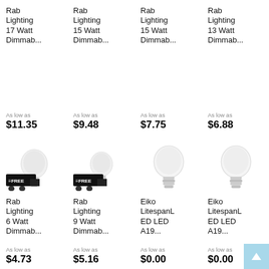Rab Lighting 17 Watt Dimmab...
As low as $11.35
Rab Lighting 15 Watt Dimmab...
As low as $9.48
Rab Lighting 15 Watt Dimmab...
As low as $7.75
Rab Lighting 13 Watt Dimmab...
As low as $6.88
[Figure (photo): LED light bulb with free shipping truck badge]
Rab Lighting 6 Watt Dimmab...
As low as $4.73
[Figure (photo): LED light bulb with free shipping truck badge]
Rab Lighting 9 Watt Dimmab...
As low as $5.16
[Figure (photo): Eiko LitespanLED light bulb]
Eiko LitespanLED LED A19...
As low as $0.00
[Figure (photo): Eiko LitespanLED light bulb]
Eiko LitespanLED LED A19...
As low as $0.00